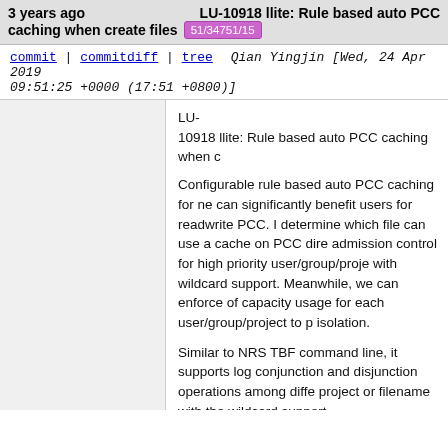3 years ago   LU-10918 llite: Rule based auto PCC caching when create files  51/34751/15
commit | commitdiff | tree   Qian Yingjin [Wed, 24 Apr 2019 09:51:25 +0000 (17:51 +0800)]
LU-10918 llite: Rule based auto PCC caching when c

Configurable rule based auto PCC caching for ne can significantly benefit users for readwrite PCC. determine which file can use a cache on PCC dire admission control for high priority user/group/proje with wildcard support. Meanwhile, we can enforce of capacity usage for each user/group/project to p isolation.

Similar to NRS TBF command line, it supports log conjunction and disjunction operations among diffe project or filename with the wildcard support.

The command line to add this kind of rule is as foll lctl pcc add /mnt/lustre /mnt/pcc "projid={500 1000}&fname={*.h5},uid={1001} rwid=1 roid=1" It means that Project ID of 500, 1000 AND file suff OR User ID is 1001 can be auto cached on PCC f on the client. "rwid" means RW-PCC attach ID (which is usually archive ID); "roid" means RO-PCC attach ID. By default